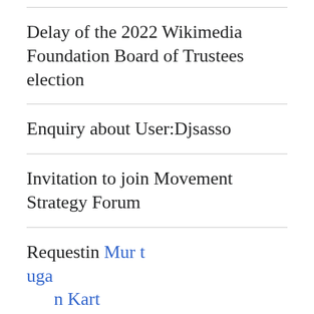Delay of the 2022 Wikimedia Foundation Board of Trustees election
Enquiry about User:Djsasso
Invitation to join Movement Strategy Forum
Requesting move of Murugañ t Kartoikeya in line with English wikipedia.